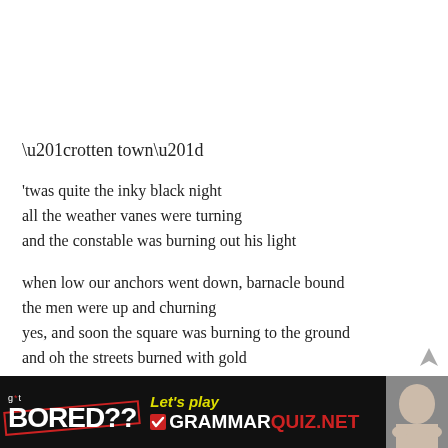“rotten town”
'twas quite the inky black night
all the weather vanes were turning
and the constable was burning out his light

when low our anchors went down, barnacle bound
the men were up and churning
yes, and soon the square was burning to the ground
and oh the streets burned with gold
g*t BORED?? Let's play ✓ GRAMMARQUIZ.NET